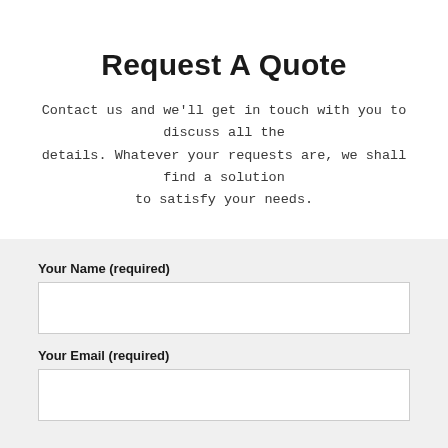Request A Quote
Contact us and we'll get in touch with you to discuss all the details. Whatever your requests are, we shall find a solution to satisfy your needs.
Your Name (required)
Your Email (required)